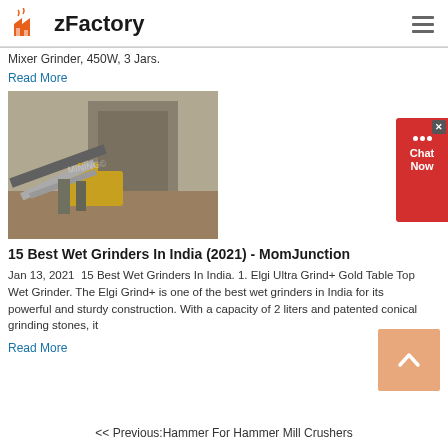zFactory
Mixer Grinder, 450W, 3 Jars.
Read More
[Figure (photo): Industrial grinding/crushing equipment at a quarry or construction site, with conveyor belts, machinery and stone structures visible.]
15 Best Wet Grinders In India (2021) - MomJunction
Jan 13, 2021  15 Best Wet Grinders In India. 1. Elgi Ultra Grind+ Gold Table Top Wet Grinder. The Elgi Grind+ is one of the best wet grinders in India for its powerful and sturdy construction. With a capacity of 2 liters and patented conical grinding stones, it
Read More
<< Previous:Hammer For Hammer Mill Crushers